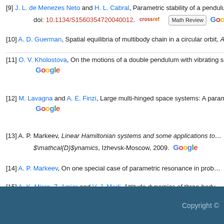[9] J. L. de Menezes Neto and H. L. Cabral, Parametric stability of a pendulum w... doi: 10.1134/S1560354720040012.
[10] A. D. Guerman, Spatial equilibria of multibody chain in a circular orbit, Acta A...
[11] O. V. Kholostova, On the motions of a double pendulum with vibrating suspe...
[12] M. Lavagna and A. E. Finzi, Large multi-hinged space systems: A parametric...
[13] A. P. Markeev, Linear Hamiltonian systems and some applications to... $\mathcal{D}$ynamics, Izhevsk-Moscow, 2009.
[14] A. P. Markeev, On one special case of parametric resonance in prob...
[15] A. K. Misra, Z. Amier and V. J. Modi, Attitude dynamics of three-body...
[16] A. V. Sarychev, Equilibria of a double pendulum in a circular orbit, Ac...
[17] J. L. Synge, On the behavior, according to Newtonian theory of a plu...
[18] L. R. Valeriano, Parametric stability in Robe's problem, Regul. Chao...
Copyright ©